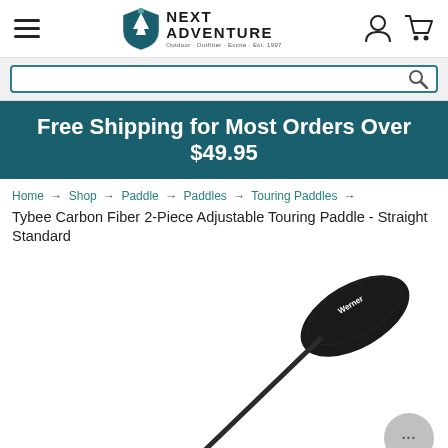Next Adventure - Outdoor Outfitter
Free Shipping for Most Orders Over $49.95
Home → Shop → Paddle → Paddles → Touring Paddles →
Tybee Carbon Fiber 2-Piece Adjustable Touring Paddle - Straight Standard
[Figure (photo): A black carbon fiber kayak touring paddle with an oval blade at the top right, extending diagonally across the image to the lower center. The paddle is the Werner Tybee model.]